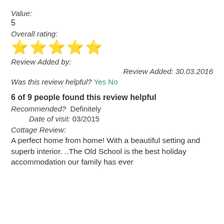Value:
5
Overall rating:
[Figure (other): Five gold star rating icons]
Review Added by:
Review Added: 30.03.2016
Was this review helpful? Yes No
6 of 9 people found this review helpful
Recommended?  Definitely
Date of visit: 03/2015
Cottage Review:
A perfect home from home! With a beautiful setting and superb interior. ..The Old School is the best holiday accommodation our family has ever